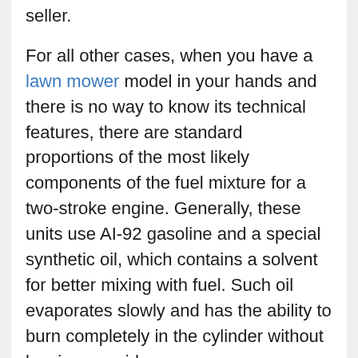seller.
For all other cases, when you have a lawn mower model in your hands and there is no way to know its technical features, there are standard proportions of the most likely components of the fuel mixture for a two-stroke engine. Generally, these units use AI-92 gasoline and a special synthetic oil, which contains a solvent for better mixing with fuel. Such oil evaporates slowly and has the ability to burn completely in the cylinder without leaving a residue.
the standard ratio of synthetic oil to gasoline is 1:50. This means that 100 ml of oil is needed for 5 litres of petrol, so the oil consumption per 1 litre of petrol is 20 ml. Knowing the amount of oil needed to dilute 1 liter of fuel, you can easily calculate any rates in the preparation of fuel for grass trimmer. When using mineral oils, the standard ratio is often 1: 40. Consequently, 1 liter of fuel requires 25 ml of such oil,